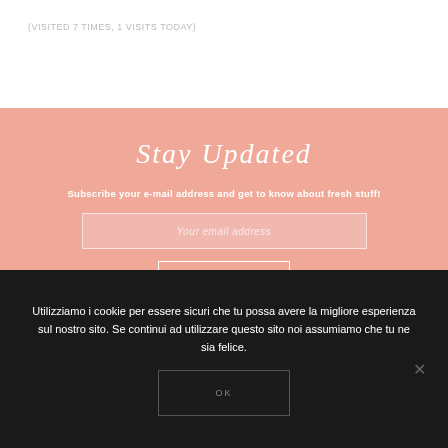(VISITED 7 TIMES, 1 VISITS TODAY)
Stay Updated
Subscribe your e-mail address and get to know about fresh stuff!
Your email address
SIGN UP
Utilizziamo i cookie per essere sicuri che tu possa avere la migliore esperienza sul nostro sito. Se continui ad utilizzare questo sito noi assumiamo che tu ne sia felice.
OK